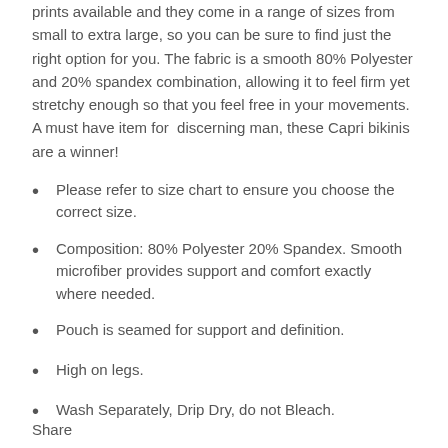prints available and they come in a range of sizes from small to extra large, so you can be sure to find just the right option for you. The fabric is a smooth 80% Polyester and 20% spandex combination, allowing it to feel firm yet stretchy enough so that you feel free in your movements. A must have item for  discerning man, these Capri bikinis are a winner!
Please refer to size chart to ensure you choose the correct size.
Composition: 80% Polyester 20% Spandex. Smooth microfiber provides support and comfort exactly where needed.
Pouch is seamed for support and definition.
High on legs.
Wash Separately, Drip Dry, do not Bleach.
Share